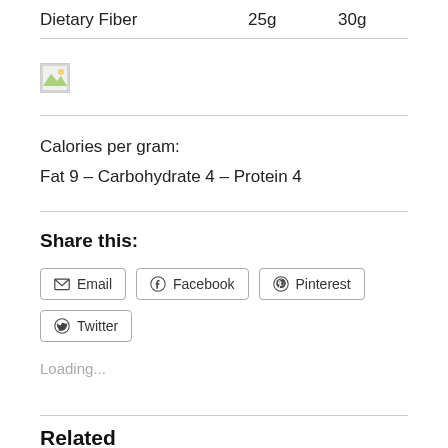Dietary Fiber  25g  30g
[Figure (photo): Broken/missing image placeholder icon]
Calories per gram:
Fat 9 – Carbohydrate 4 – Protein 4
Share this:
Email  Facebook  Pinterest  Twitter
Loading...
Related
Strawberry Crunch Muffins